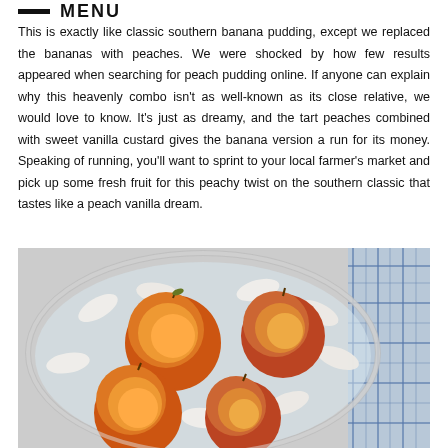MENU
This is exactly like classic southern banana pudding, except we replaced the bananas with peaches. We were shocked by how few results appeared when searching for peach pudding online. If anyone can explain why this heavenly combo isn't as well-known as its close relative, we would love to know. It's just as dreamy, and the tart peaches combined with sweet vanilla custard gives the banana version a run for its money. Speaking of running, you'll want to sprint to your local farmer's market and pick up some fresh fruit for this peachy twist on the southern classic that tastes like a peach vanilla dream.
[Figure (photo): Overhead view of peaches and white oval cookies/wafers in a clear glass bowl with water and ice, with a blue plaid cloth napkin visible at the right side.]